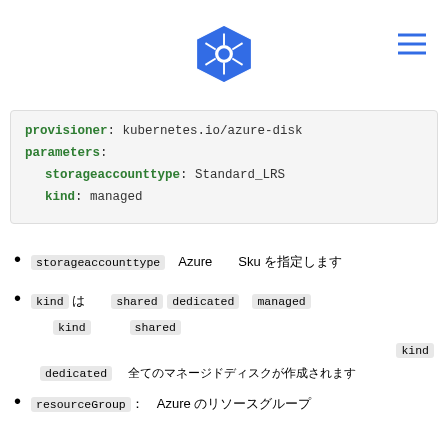Kubernetes logo header with navigation
provisioner: kubernetes.io/azure-disk
parameters:
  storageaccounttype: Standard_LRS
  kind: managed
storageaccounttype  Azure  Sku を指定します
kind は  shared  dedicated  managed から選択します。 kind に  shared を指定した場合、kind に  dedicated を指定した場合、全てのマネージドディスクが作成されます
resourceGroup :  Azure のリソースグループ
Kubernetes のバージョンによって
Premium VM  Standard_LRS